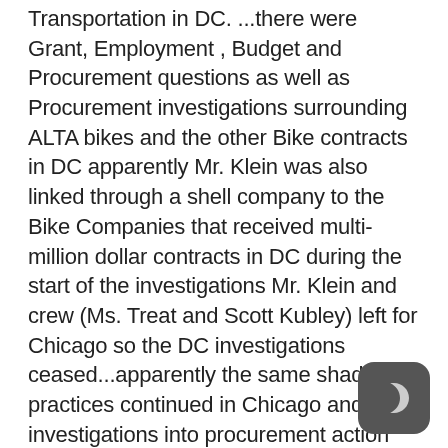Transportation in DC. ...there were Grant, Employment , Budget and Procurement questions as well as Procurement investigations surrounding ALTA bikes and the other Bike contracts in DC apparently Mr. Klein was also linked through a shell company to the Bike Companies that received multi-million dollar contracts in DC during the start of the investigations Mr. Klein and crew (Ms. Treat and Scott Kubley) left for Chicago so the DC investigations ceased...apparently the same shady practices continued in Chicago and investigations into procurement action ensued there and again, Mr. Klein for no apparent reason resigned (rumor is was forced too) and Ms. Treat was fortunate
[Figure (illustration): Dark gray rounded square icon with a crescent moon symbol in white/light color, located in the bottom-right corner of the page]